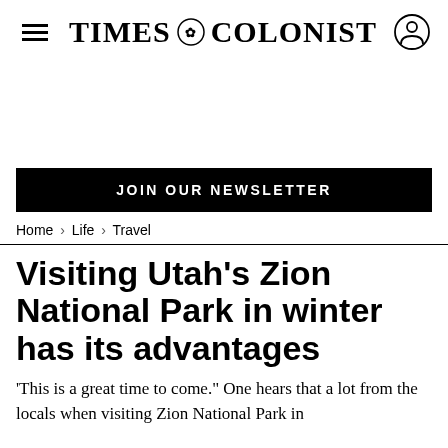Times Colonist
JOIN OUR NEWSLETTER
Home > Life > Travel
Visiting Utah's Zion National Park in winter has its advantages
'This is a great time to come." One hears that a lot from the locals when visiting Zion National Park in